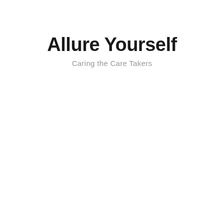Allure Yourself
Caring the Care Takers